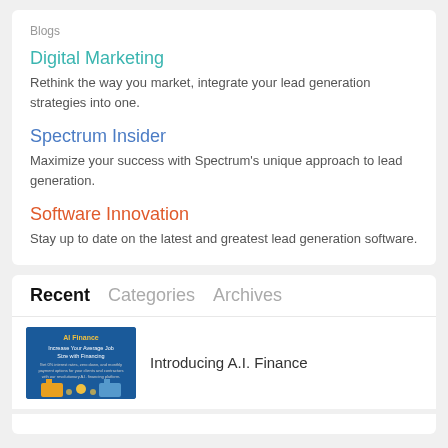Blogs
Digital Marketing
Rethink the way you market, integrate your lead generation strategies into one.
Spectrum Insider
Maximize your success with Spectrum's unique approach to lead generation.
Software Innovation
Stay up to date on the latest and greatest lead generation software.
Recent   Categories   Archives
Introducing A.I. Finance
[Figure (illustration): Blue banner image with text about A.I. Finance, featuring buildings and coins graphic]